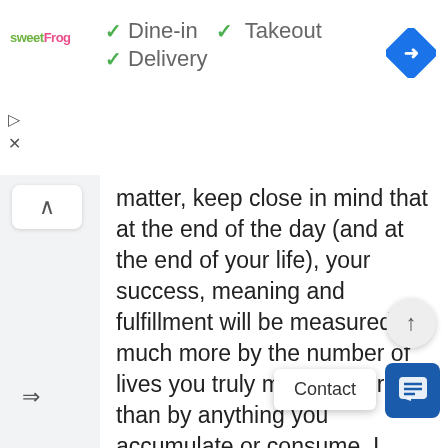[Figure (screenshot): sweetFrog logo in green and pink text]
✓ Dine-in  ✓ Takeout
✓ Delivery
[Figure (other): Google Maps navigation diamond icon (blue with right arrow)]
[Figure (other): Play button triangle icon and X close icon on left sidebar]
[Figure (other): Collapse/chevron up button on left sidebar]
matter, keep close in mind that at the end of the day (and at the end of your life), your success, meaning and fulfillment will be measured much more by the number of lives you truly made better, than by anything you accumulate or consume. I encourage you to live accordingly and treat this as a gift to those you wish to do the same. Make this your gift to life and to this year. Step outside of yourself
[Figure (other): Scroll up arrow button (circular grey button)]
Contact
[Figure (other): Blue chat/message button]
[Figure (other): Share/forward arrows icon on bottom left]